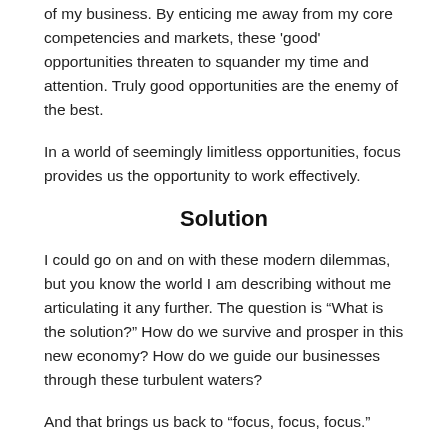of my business.  By enticing me away from my core competencies and markets, these 'good' opportunities threaten to squander my time and attention.  Truly good opportunities are the enemy of the best.
In a world of seemingly limitless opportunities, focus provides us the opportunity to work effectively.
Solution
I could go on and on with these modern dilemmas, but you know the world I am describing without me articulating it any further.  The question is “What is the solution?”  How do we survive and prosper in this new economy?  How do we guide our businesses through these turbulent waters?
And that brings us back to “focus, focus, focus.”
What is focus?  Here are a couple of dictionary definitions: